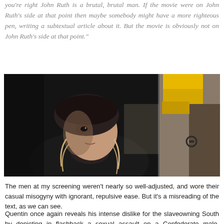you're right John Ruth is a brutal, brutal man. If the movie were on John Ruth's side at that point then maybe somebody might have a more righteous pen, writing a subtextual article about it. But the movie is obviously not on John Ruth's side at that point."
[Figure (photo): A woman wearing a fur hat and heavy winter clothing looking to the side in a dimly lit scene; yellow fabric visible in the upper background right, dark door hardware visible on the right side.]
The men at my screening weren't nearly so well-adjusted, and wore their casual misogyny with ignorant, repulsive ease. But it's a misreading of the text, as we can see.
Quentin once again reveals his intense dislike for the slaveowning South by depicting in flashback a sexual assault on a Confederate male, although the scene is in all likelihood not something that